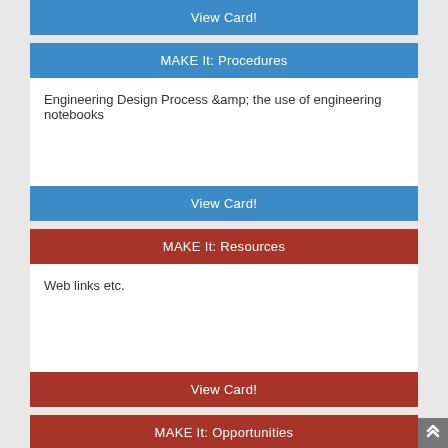View Card!
MAKE It: Procedures
Engineering Design Process &amp; the use of engineering notebooks
View Card!
MAKE It: Resources
Web links etc.
View Card!
MAKE It: Opportunities